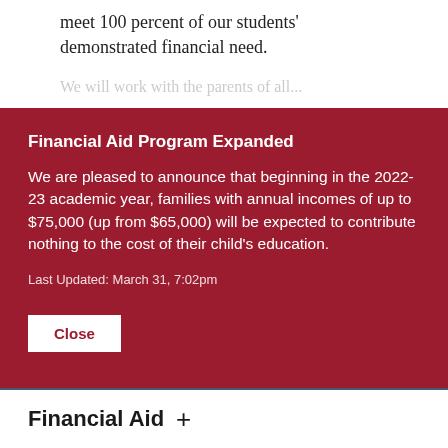benefit from the most. Furthermore, we meet 100 percent of our students' demonstrated financial need.
We will work with parents of all...
Financial Aid Program Expanded
We are pleased to announce that beginning in the 2022-23 academic year, families with annual incomes of up to $75,000 (up from $65,000) will be expected to contribute nothing to the cost of their child's education.
Last Updated: March 31, 7:02pm
Close
[Figure (photo): Partial photo strip of students, dark blue/teal toned]
Financial Aid +